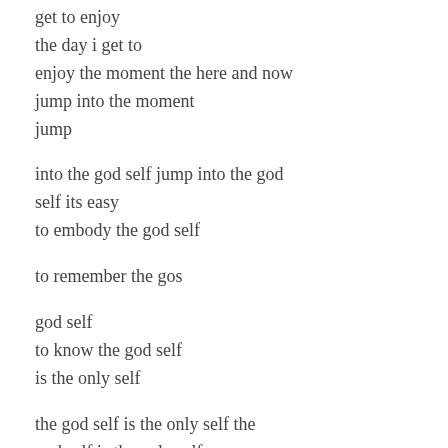get to enjoy
the day i get to
enjoy the moment the here and now
jump into the moment
jump

into the god self jump into the god
self its easy
to embody the god self

to remember the gos

god self
to know the god self
is the only self

the god self is the only self the
god self is the only self
and that is all there is